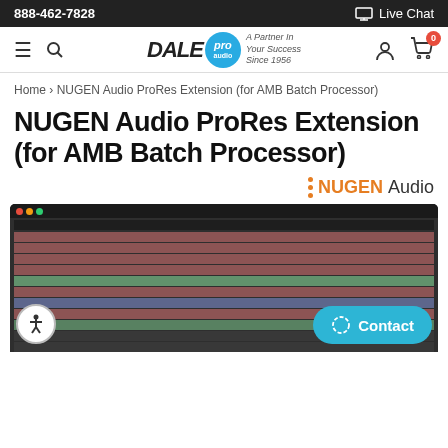888-462-7828  Live Chat
[Figure (screenshot): Dale Pro Audio navigation bar with hamburger menu, search icon, Dale Pro Audio logo, user icon, and cart icon with 0 items badge]
Home › NUGEN Audio ProRes Extension (for AMB Batch Processor)
NUGEN Audio ProRes Extension (for AMB Batch Processor)
[Figure (logo): NUGEN Audio brand logo with orange dots and text]
[Figure (screenshot): Software screenshot of AMB Batch Processor interface showing a dark themed application with rows of audio files highlighted in pink, green, and blue colors]